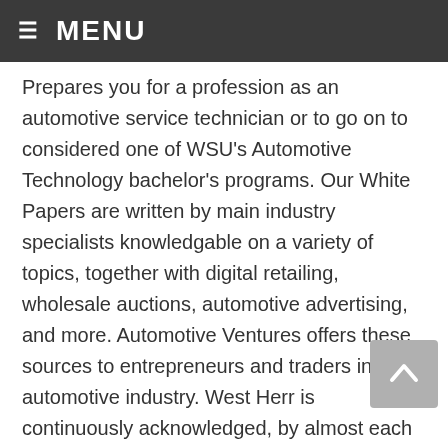≡ MENU
Prepares you for a profession as an automotive service technician or to go on to considered one of WSU's Automotive Technology bachelor's programs. Our White Papers are written by main industry specialists knowledgable on a variety of topics, together with digital retailing, wholesale auctions, automotive advertising, and more. Automotive Ventures offers these sources to entrepreneurs and traders in the automotive industry. West Herr is continuously acknowledged, by almost each major Automotive News vehicle manufacturer we characterize, for the standard of service our workers delivers to our clients. Over many a long time, our devoted automotive staff has built a popularity as a leading international provider of bumper-to-bumper solutions in thermoplastics. As a Sewell customer, get pleasure from quite a few advantages along with one of the best car sales and service expertise around.